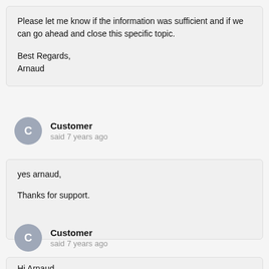Please let me know if the information was sufficient and if we can go ahead and close this specific topic.

Best Regards,
Arnaud
Customer said 7 years ago
yes arnaud,

Thanks for support.
Customer said 7 years ago
Hi Arnaud